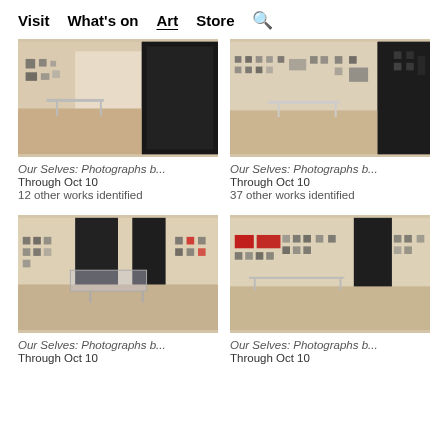Visit  What's on  Art  Store  🔍
[Figure (photo): Museum gallery interior with white walls covered in small framed artworks, wooden floor, and a dark mirror/glass partition on the right side]
Our Selves: Photographs b...
Through Oct 10
12 other works identified
[Figure (photo): Museum gallery interior with white walls covered in small framed artworks, wooden floor, and a dark wall/doorway in the background]
Our Selves: Photographs b...
Through Oct 10
37 other works identified
[Figure (photo): Museum gallery interior with white walls covered in framed artworks including some red pieces, wooden floor, glass display case in center]
Our Selves: Photographs b...
Through Oct 10
[Figure (photo): Museum gallery interior with white walls covered in framed artworks including red pieces, metal railing/barrier visible, wooden floor]
Our Selves: Photographs b...
Through Oct 10